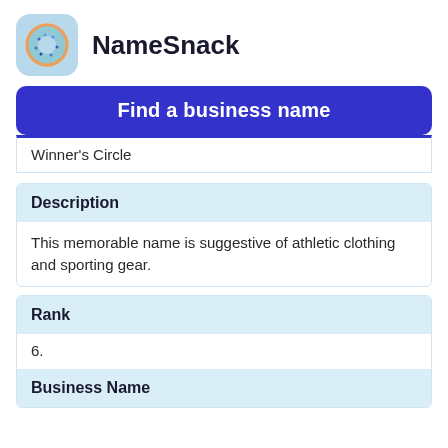[Figure (logo): NameSnack app logo: donut icon on light blue rounded square background]
NameSnack
Find a business name
Winner's Circle
| Description |
| --- |
| This memorable name is suggestive of athletic clothing and sporting gear. |
| Rank |
| --- |
| 6. |
Business Name